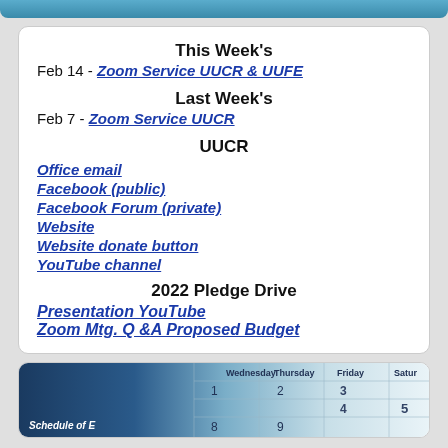This Week's
Feb 14 - Zoom Service UUCR & UUFE
Last Week's
Feb 7 - Zoom Service UUCR
UUCR
Office email
Facebook (public)
Facebook Forum (private)
Website
Website donate button
YouTube channel
2022 Pledge Drive
Presentation YouTube
Zoom Mtg. Q &A Proposed Budget
[Figure (photo): Calendar image showing a monthly calendar grid with Thursday, Friday, Saturday columns visible and numbers 1-9 partially shown, dark blue background on left side fading to light blue/white on right.]